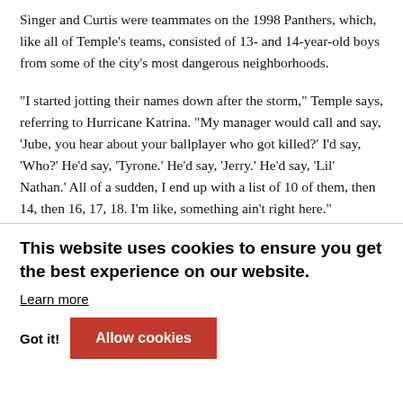Singer and Curtis were teammates on the 1998 Panthers, which, like all of Temple's teams, consisted of 13- and 14-year-old boys from some of the city's most dangerous neighborhoods.
“I started jotting their names down after the storm,” Temple says, referring to Hurricane Katrina. “My manager would call and say, ‘Jube, you hear about your ballplayer who got killed?’ I’d say, ‘Who?’ He’d say, ‘Tyrone.’ He’d say, ‘Jerry.’ He’d say, ‘Lil’ Nathan.’ All of a sudden, I end up with a list of 10 of them, then 14, then 16, 17, 18. I’m like, something ain’t right here.”
Temple has always been a true believer in football, that its regimented, team-oriented framework can instill discipline in troubled children, provide an outlet to release their anger, a family … whatever
…d to help the mental health … their … prompts them to Central City, where the Panthers practice, had the highest number of nonfatal
This website uses cookies to ensure you get the best experience on our website.
Learn more
Got it!
Allow cookies